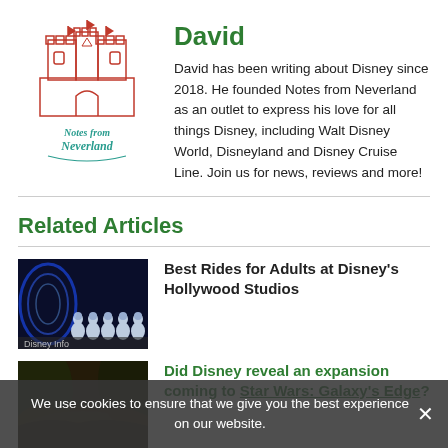[Figure (logo): Notes from Neverland logo — red outline of castle with teal script text below]
David
David has been writing about Disney since 2018. He founded Notes from Neverland as an outlet to express his love for all things Disney, including Walt Disney World, Disneyland and Disney Cruise Line. Join us for news, reviews and more!
Related Articles
[Figure (photo): Stormtroopers at Star Wars Galaxy's Edge ride, dark blue lighting]
Best Rides for Adults at Disney's Hollywood Studios
[Figure (photo): Dark jungle/cave themed Disney attraction thumbnail]
Did Disney reveal an expansion coming to Star Wars: Galaxy's Edge?
We use cookies to ensure that we give you the best experience on our website.